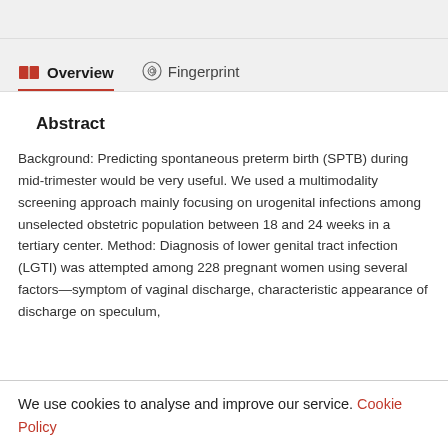Overview  Fingerprint
Abstract
Background: Predicting spontaneous preterm birth (SPTB) during mid-trimester would be very useful. We used a multimodality screening approach mainly focusing on urogenital infections among unselected obstetric population between 18 and 24 weeks in a tertiary center. Method: Diagnosis of lower genital tract infection (LGTI) was attempted among 228 pregnant women using several factors—symptom of vaginal discharge, characteristic appearance of discharge on speculum,
We use cookies to analyse and improve our service. Cookie Policy